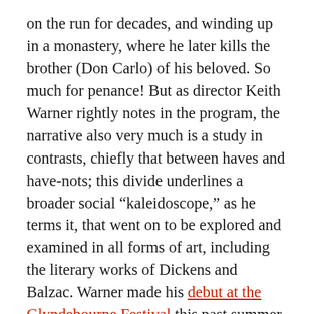on the run for decades, and winding up in a monastery, where he later kills the brother (Don Carlo) of his beloved. So much for penance! But as director Keith Warner rightly notes in the program, the narrative also very much is a study in contrasts, chiefly that between haves and have-nots; this divide underlines a broader social “kaleidoscope,” as he terms it, that went on to be explored and examined in all forms of art, including the literary works of Dickens and Balzac. Warner made his debut at the Glyndebourne Festival this past summer, with the equally intense Vanessa by Samuel Barber. “We are spectators in a big arena of life, in which all events influence each other,” Warner says in the notes for Forza. Such connectivity that drives so much great art, and I think, sustains it over decades.